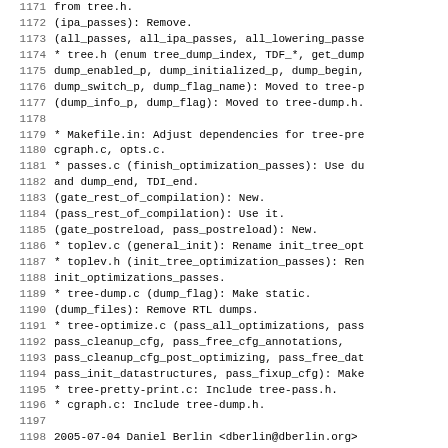1171        from tree.h.
1172        (ipa_passes): Remove.
1173        (all_passes, all_ipa_passes, all_lowering_passe
1174        * tree.h (enum tree_dump_index, TDF_*, get_dump
1175        dump_enabled_p, dump_initialized_p, dump_begin,
1176        dump_switch_p, dump_flag_name): Moved to tree-p
1177        (dump_info_p, dump_flag): Moved to tree-dump.h.
1178        
1179        * Makefile.in: Adjust dependencies for tree-pre
1180        cgraph.c, opts.c.
1181        * passes.c (finish_optimization_passes): Use du
1182        and dump_end, TDI_end.
1183        (gate_rest_of_compilation): New.
1184        (pass_rest_of_compilation): Use it.
1185        (gate_postreload, pass_postreload): New.
1186        * toplev.c (general_init): Rename init_tree_opt
1187        * toplev.h (init_tree_optimization_passes): Ren
1188        init_optimizations_passes.
1189        * tree-dump.c (dump_flag): Make static.
1190        (dump_files): Remove RTL dumps.
1191        * tree-optimize.c (pass_all_optimizations, pass
1192        pass_cleanup_cfg, pass_free_cfg_annotations,
1193        pass_cleanup_cfg_post_optimizing, pass_free_dat
1194        pass_init_datastructures, pass_fixup_cfg): Make
1195        * tree-pretty-print.c: Include tree-pass.h.
1196        * cgraph.c: Include tree-dump.h.
1197        
1198 2005-07-04  Daniel Berlin  <dberlin@dberlin.org>
1199        
1200        * tree-ssa-structalias.c (get_constraint_exp_fr
1201        Only fall back to saying it points to readonly
1202        we can't do better.